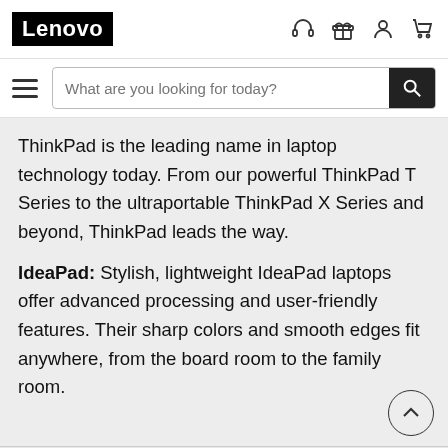Lenovo
ThinkPad is the leading name in laptop technology today. From our powerful ThinkPad T Series to the ultraportable ThinkPad X Series and beyond, ThinkPad leads the way.
IdeaPad: Stylish, lightweight IdeaPad laptops offer advanced processing and user-friendly features. Their sharp colors and smooth edges fit anywhere, from the board room to the family room.